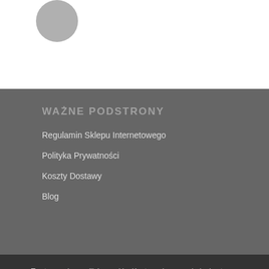[Figure (illustration): Partial gray circular avatar at top left]
WAŻNE PODSTRONY
Regulamin Sklepu Internetowego
Polityka Prywatności
Koszty Dostawy
Blog
Ta strona używa plików cookie. Kontynuując przeglądanie strony, wyrażasz zgodę na używanie przez nas plików cookie.
GODZINY
Poniedziałek - Piątek: 8:30 - 15:30